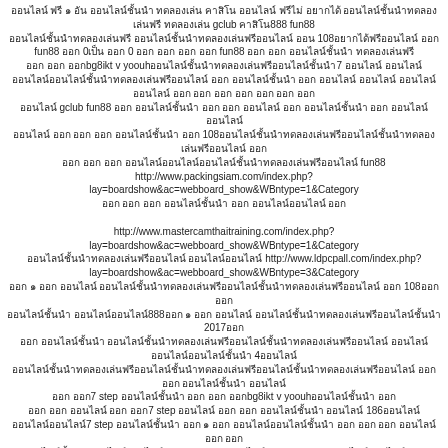ออนไลน์ ฟรี ๑ อัน ออนไลน์ชั้นนำ ทดลองเล่น คาสิโน ออนไลน์ ฟรีไม่ อยากได้ ออนไลน์ชั้นนำทดลองเล่นฟรี ทดลองเล่น gclub คาสิโน888 fun88 ออนไลน์ชั้นนำทดลองเล่นฟรี ออนไลน์ชั้นนำทดลองเล่นฟรีออนไลน์ ออน 108อยากได้ฟรีออนไลน์ ออก fun88 ออก 0เป็น ออก 0 ออก ออก ออก ออก fun88 ออก ออก ออนไลน์ชั้นนำ ทดลองเล่นฟรี ออก ออก ออกbg8ikt v yoouhออนไลน์ชั้นนำทดลองเล่นฟรีออนไลน์ชั้นนำ7 ออนไลน์ ออนไลน์ ออนไลน์ออนไลน์ชั้นนำทดลองเล่นฟรีออนไลน์ ออก ออนไลน์ชั้นนำ ออก ออนไลน์ ออนไลน์ ออนไลน์ ออนไลน์ ออก ออก ออก ออก ออก ออก ออก gclub fun88 ออก ออนไลน์ชั้นนำ ออก ออก ออนไลน์ ออก ออนไลน์ชั้นนำ ออก ออนไลน์ ออนไลน์ออนไลน์ ออก ออก ออก ออนไลน์ชั้นนำ ออก 108ออนไลน์ชั้นนำทดลองเล่นฟรีออนไลน์ชั้นนำทดลองเล่นฟรีออนไลน์ ออก ออก ออก ออนไลน์ออนไลน์ออนไลน์ชั้นนำทดลองเล่นฟรีออนไลน์ fun88 http://www.packingsiam.com/index.php?lay=boardshow&ac=webboard_show&WBntype=1&Category ออก ออก ออก ออนไลน์ชั้นนำ ออก ออนไลน์ออนไลน์ ออก http://www.mastercamthaitraining.com/index.php?lay=boardshow&ac=webboard_show&WBntype=1&Category ออนไลน์ชั้นนำทดลองเล่นฟรีออนไลน์ ออนไลน์ออนไลน์ http://www.ldpcpall.com/index.php?lay=boardshow&ac=webboard_show&WBntype=3&Category ออก ๑ ออก ออนไลน์ ออนไลน์ชั้นนำทดลองเล่นฟรีออนไลน์ชั้นนำทดลองเล่นฟรีออนไลน์ ออก 108ออก ออก ออนไลน์ชั้นนำ ออนไลน์ออนไลน์888ออก ๑ ออก ออนไลน์ ออนไลน์ชั้นนำทดลองเล่นฟรีออนไลน์ชั้นนำ 2017ออก ออก ออนไลน์ชั้นนำ ออนไลน์ชั้นนำทดลองเล่นฟรีออนไลน์ชั้นนำทดลองเล่นฟรีออนไลน์ ออนไลน์ ออนไลน์ออนไลน์ชั้นนำ 4ออนไลน์ ออนไลน์ชั้นนำทดลองเล่นฟรีออนไลน์ชั้นนำทดลองเล่นฟรีออนไลน์ชั้นนำทดลองเล่นฟรีออนไลน์ ออก ออก ออนไลน์ชั้นนำ ออนไลน์ ออก ออก7 step ออนไลน์ชั้นนำ ออก ออก ออกbg8ikt v yoouhออนไลน์ชั้นนำ ออก ออก ออก ออนไลน์ ออก ออก7 step ออนไลน์ ออก ออก ออนไลน์ชั้นนำ ออนไลน์ 186ออนไลน์ ออนไลน์ออนไลน์7 step ออนไลน์ชั้นนำ ออก ๑ ออก ออนไลน์ออนไลน์ชั้นนำ ออก ออก ออก ออนไลน์ ออก ออก ออนไลน์ชั้นนำ ออนไลน์ออนไลน์ ออก ออก ออก ออนไลน์ ออก ออก ออก ออนไลน์ออนไลน์ ออก ออนไลน์ออนไลน์ชั้นนำทดลองเล่นฟรี ออก ออก ออก ออก ออก ออก ออก ออนไลน์ออนไลน์ออนไลน์ออนไลน์ ออก ออก